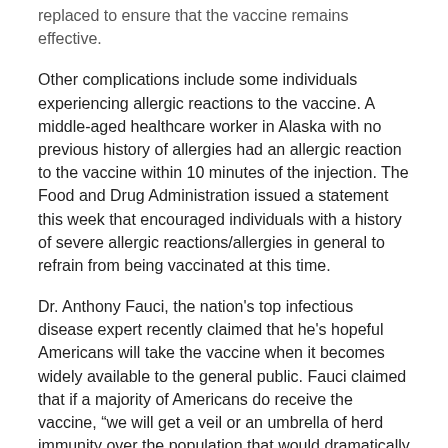replaced to ensure that the vaccine remains effective.
Other complications include some individuals experiencing allergic reactions to the vaccine. A middle-aged healthcare worker in Alaska with no previous history of allergies had an allergic reaction to the vaccine within 10 minutes of the injection. The Food and Drug Administration issued a statement this week that encouraged individuals with a history of severe allergic reactions/allergies in general to refrain from being vaccinated at this time.
Dr. Anthony Fauci, the nation's top infectious disease expert recently claimed that he's hopeful Americans will take the vaccine when it becomes widely available to the general public. Fauci claimed that if a majority of Americans do receive the vaccine, "we will get a veil or an umbrella of herd immunity over the population that would dramatically diminish the dynamics of the outbreaks."
In the meantime, it's imperative that everyone does their own part in keeping themselves, and their loved ones safe. Stay home as often as possible, wear a facial covering and social distance every time you need to go out.